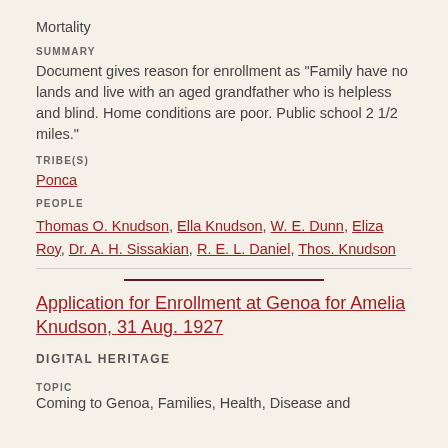Mortality
SUMMARY
Document gives reason for enrollment as "Family have no lands and live with an aged grandfather who is helpless and blind. Home conditions are poor. Public school 2 1/2 miles."
TRIBE(S)
Ponca
PEOPLE
Thomas O. Knudson, Ella Knudson, W. E. Dunn, Eliza Roy, Dr. A. H. Sissakian, R. E. L. Daniel, Thos. Knudson
Application for Enrollment at Genoa for Amelia Knudson, 31 Aug. 1927
DIGITAL HERITAGE
TOPIC
Coming to Genoa, Families, Health, Disease and